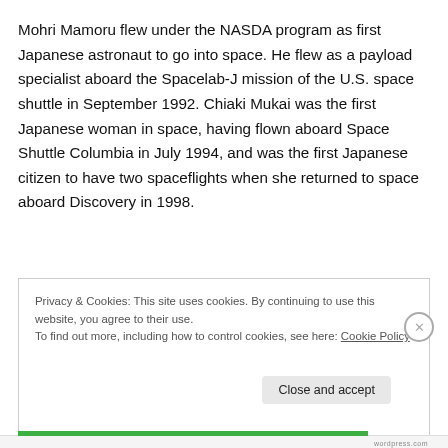Mohri Mamoru flew under the NASDA program as first Japanese astronaut to go into space. He flew as a payload specialist aboard the Spacelab-J mission of the U.S. space shuttle in September 1992. Chiaki Mukai was the first Japanese woman in space, having flown aboard Space Shuttle Columbia in July 1994, and was the first Japanese citizen to have two spaceflights when she returned to space aboard Discovery in 1998.
Privacy & Cookies: This site uses cookies. By continuing to use this website, you agree to their use.
To find out more, including how to control cookies, see here: Cookie Policy